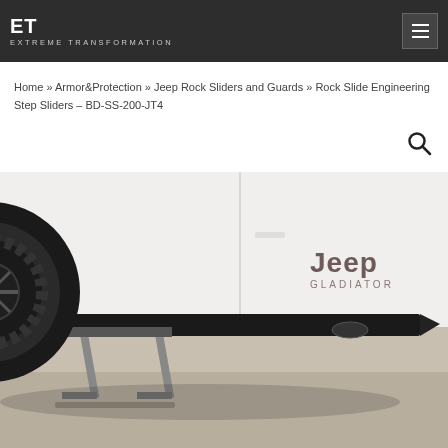EXTREME TRANSFORMATION
Home » Armor&Protection » Jeep Rock Sliders and Guards » Rock Slide Engineering Step Sliders – BD-SS-200-JT4
[Figure (photo): Photo of a Jeep Gladiator with a black rock slide engineering step slider mounted along the side rocker panel. The vehicle is white, a large black off-road tire is visible on the left side, and the slider extends along the bottom with steps folded out. The words 'Jeep GLADIATOR' appear on the door panel. Background is a gravel/concrete surface.]